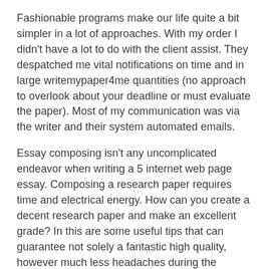Fashionable programs make our life quite a bit simpler in a lot of approaches. With my order I didn't have a lot to do with the client assist. They despatched me vital notifications on time and in large writemypaper4me quantities (no approach to overlook about your deadline or must evaluate the paper). Most of my communication was via the writer and their system automated emails.
Essay composing isn't any uncomplicated endeavor when writing a 5 internet web page essay. Composing a research paper requires time and electrical energy. How can you create a decent research paper and make an excellent grade? In this are some useful tips that can guarantee not solely a fantastic high quality, however much less headaches during the process.
The number of companies is transient. You will not discover a separate web page that lists all varieties of tasks you may order, but you have access to the full write my paper 4 me listing within the order form. You may order an essay